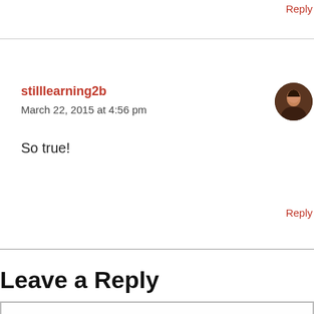Reply
stilllearning2b
March 22, 2015 at 4:56 pm
[Figure (photo): Circular avatar photo of a person with dark hair, smiling]
So true!
Reply
Leave a Reply
Enter your comment here...